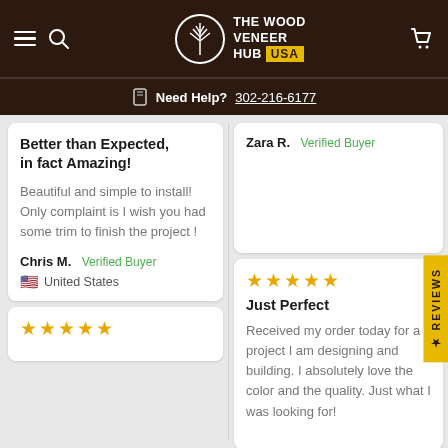[Figure (logo): The Wood Veneer Hub USA logo with tree icon in circle and USA in yellow box]
Need Help? 302-216-6177
Better than Expected, in fact Amazing! Beautiful and simple to install! Only complaint is I wish you had some trim to finish the project ! Chris M. Verified Buyer United States
Zara R. Verified Buyer
Just Perfect Received my order today for a project I am designing and building. I absolutely love the color and the quality. Just what I was looking for!